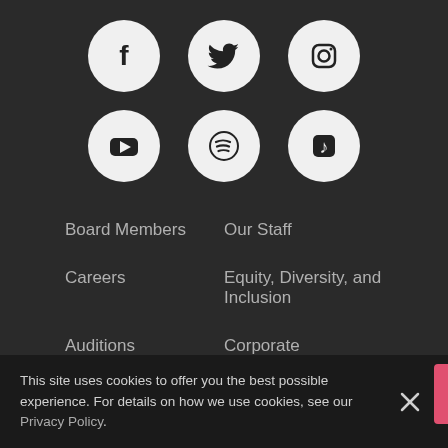[Figure (infographic): Row of three social media icon circles: Facebook (f), Twitter (bird), Instagram (camera)]
[Figure (infographic): Row of three social media icon circles: YouTube (play button), Spotify (sound waves), Apple Music (music note)]
Board Members
Our Staff
Careers
Equity, Diversity, and Inclusion
Auditions
Corporate Governance
Press
This site uses cookies to offer you the best possible experience. For details on how we use cookies, see our Privacy Policy.